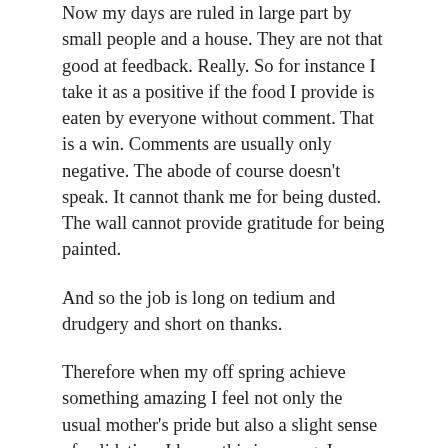Now my days are ruled in large part by small people and a house. They are not that good at feedback. Really. So for instance I take it as a positive if the food I provide is eaten by everyone without comment. That is a win. Comments are usually only negative. The abode of course doesn't speak. It cannot thank me for being dusted. The wall cannot provide gratitude for being painted.
And so the job is long on tedium and drudgery and short on thanks.
Therefore when my off spring achieve something amazing I feel not only the usual mother's pride but also a slight sense of validation. I know this is wrong. In my heart I know that I am in no way responsible for the wonderful things they achieve. That they are their own people who work hard at something or are just (lucky them) naturally good at something else. But I feel it anyway.